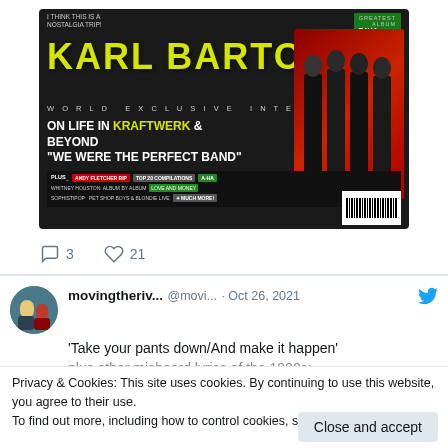[Figure (photo): Karl Bartos magazine cover – DIVA magazine, dark background with Karl Bartos in yellow text, subheading 'World Exclusive Interview', 'On Life in Kraftwerk & Beyond', '"We Were The Perfect Band"', band photo on right in red outfits, plus items listing Andy Fletcher RIP, Top 20 Compilations, A-Ha, Whitney Houston, Love And Money, Sophistipop, Pet Shop Boys & Blondie Live]
3    21
movingtheriv...  @movi...  · Oct 26, 2021
'Take your pants down/And make it happen'
plus other misheard lyrics of the 1980s:
Privacy & Cookies: This site uses cookies. By continuing to use this website, you agree to their use.
To find out more, including how to control cookies, see here: Cookie Policy
Close and accept